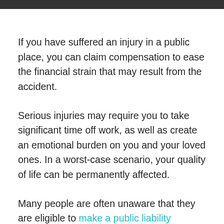If you have suffered an injury in a public place, you can claim compensation to ease the financial strain that may result from the accident.
Serious injuries may require you to take significant time off work, as well as create an emotional burden on you and your loved ones. In a worst-case scenario, your quality of life can be permanently affected.
Many people are often unaware that they are eligible to make a public liability compensation claim, however, payouts are available in NSW